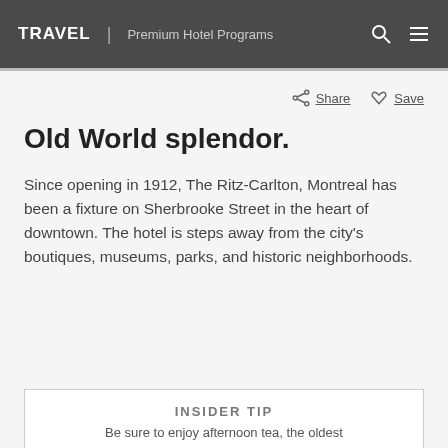TRAVEL | Premium Hotel Programs
Share  Save
Old World splendor.
Since opening in 1912, The Ritz-Carlton, Montreal has been a fixture on Sherbrooke Street in the heart of downtown. The hotel is steps away from the city's boutiques, museums, parks, and historic neighborhoods.
INSIDER TIP
Be sure to enjoy afternoon tea, the oldest